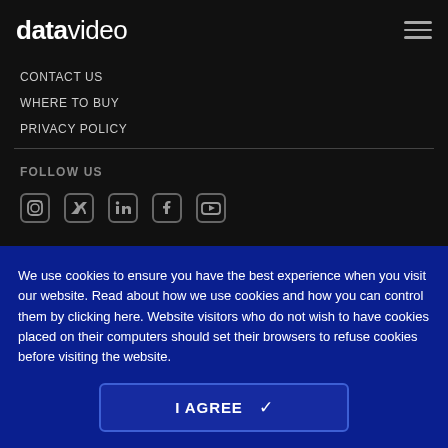datavideo
CONTACT US
WHERE TO BUY
PRIVACY POLICY
FOLLOW US
[Figure (infographic): Social media icons row: Instagram, Twitter, LinkedIn, Facebook, YouTube]
We use cookies to ensure you have the best experience when you visit our website. Read about how we use cookies and how you can control them by clicking here. Website visitors who do not wish to have cookies placed on their computers should set their browsers to refuse cookies before visiting the website.
I AGREE ✓